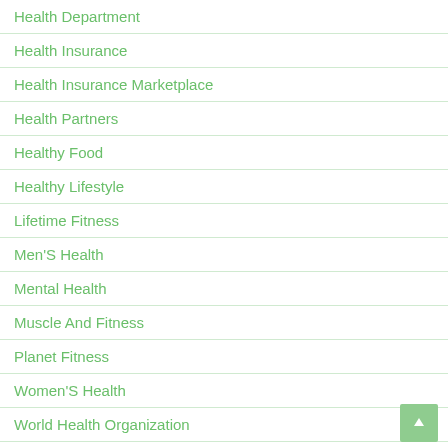Health Department
Health Insurance
Health Insurance Marketplace
Health Partners
Healthy Food
Healthy Lifestyle
Lifetime Fitness
Men'S Health
Mental Health
Muscle And Fitness
Planet Fitness
Women'S Health
World Health Organization